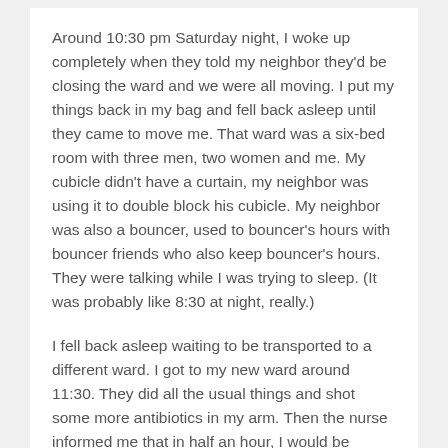Around 10:30 pm Saturday night, I woke up completely when they told my neighbor they'd be closing the ward and we were all moving. I put my things back in my bag and fell back asleep until they came to move me. That ward was a six-bed room with three men, two women and me. My cubicle didn't have a curtain, my neighbor was using it to double block his cubicle. My neighbor was also a bouncer, used to bouncer's hours with bouncer friends who also keep bouncer's hours. They were talking while I was trying to sleep. (It was probably like 8:30 at night, really.)
I fell back asleep waiting to be transported to a different ward. I got to my new ward around 11:30. They did all the usual things and shot some more antibiotics in my arm. Then the nurse informed me that in half an hour, I would be fasting and was there anything I'd like to eat or drink before then?
I had a glass of water and a sesame crackers. I passed